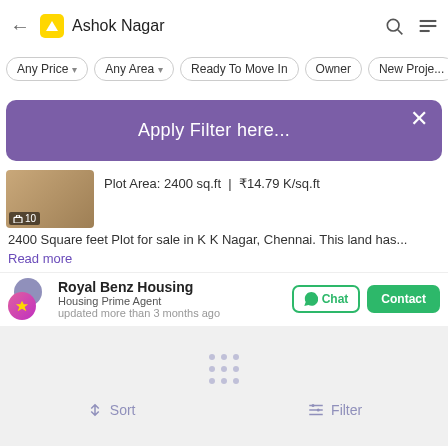← Ashok Nagar
Any Price ▾
Any Area ▾
Ready To Move In
Owner
New Proje...
[Figure (screenshot): Purple tooltip popup with text 'Apply Filter here...' and close X button]
Plot Area: 2400 sq.ft  ₹14.79 K/sq.ft
2400 Square feet Plot for sale in K K Nagar, Chennai. This land has... Read more
Royal Benz Housing
Housing Prime Agent
updated more than 3 months ago
[Figure (screenshot): Loading placeholder card with dots grid icon]
Sort  Filter